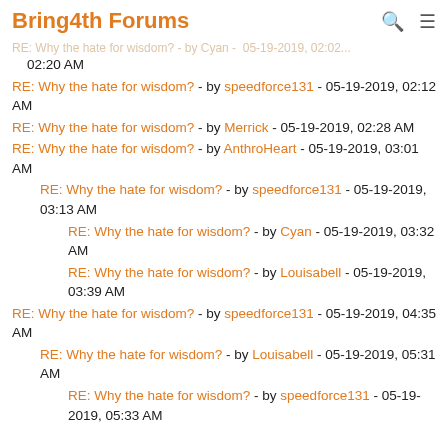Bring4th Forums
RE: Why the hate for wisdom? - by speedforce131 - 05-19-2019, 02:12 AM
RE: Why the hate for wisdom? - by Merrick - 05-19-2019, 02:28 AM
RE: Why the hate for wisdom? - by AnthroHeart - 05-19-2019, 03:01 AM
RE: Why the hate for wisdom? - by speedforce131 - 05-19-2019, 03:13 AM
RE: Why the hate for wisdom? - by Cyan - 05-19-2019, 03:32 AM
RE: Why the hate for wisdom? - by Louisabell - 05-19-2019, 03:39 AM
RE: Why the hate for wisdom? - by speedforce131 - 05-19-2019, 04:35 AM
RE: Why the hate for wisdom? - by Louisabell - 05-19-2019, 05:31 AM
RE: Why the hate for wisdom? - by speedforce131 - 05-19-2019, 05:33 AM